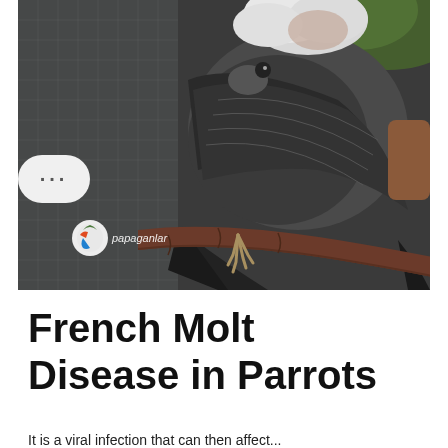[Figure (photo): Close-up photograph of a parrot (appears to have feather issues consistent with French Molt) perched on a wooden branch. The bird has dark grey/black plumage with white feathers visible. A watermark logo reading 'papaganlar' is visible in the lower-left of the image. A small dots menu button appears on the left side.]
French Molt Disease in Parrots
It is a viral infection that can then affect...